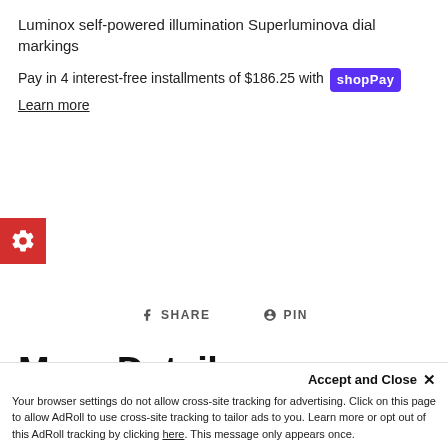Luminox self-powered illumination Superluminova dial markings
Pay in 4 interest-free installments of $186.25 with Shop Pay
Learn more
[Figure (other): Red gear/settings icon button on left edge]
SHARE   PIN
More Details
Origin: Swiss Made
Accept and Close ✕
Your browser settings do not allow cross-site tracking for advertising. Click on this page to allow AdRoll to use cross-site tracking to tailor ads to you. Learn more or opt out of this AdRoll tracking by clicking here. This message only appears once.